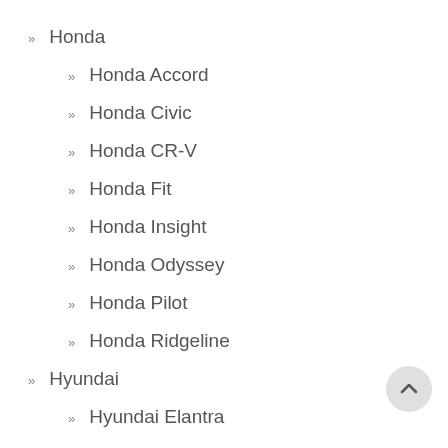Honda
Honda Accord
Honda Civic
Honda CR-V
Honda Fit
Honda Insight
Honda Odyssey
Honda Pilot
Honda Ridgeline
Hyundai
Hyundai Elantra
Hyundai Tucson